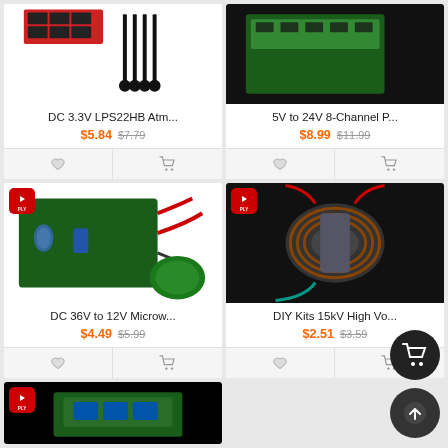[Figure (photo): DC 3.3V LPS22HB atmospheric sensor module product photo on white background]
DC 3.3V LPS22HB Atm...
$5.84 $7.79
[Figure (photo): 5V to 24V 8-Channel power module on dark background]
5V to 24V 8-Channel P...
$8.99 $11.99
[Figure (photo): DC 36V to 12V microwave module circuit board with wires]
DC 36V to 12V Microw...
$4.49 $5.99
[Figure (photo): DIY Kits 15kV High Voltage module coil on dark background]
DIY Kits 15kV High Vo...
$2.51 $3.59